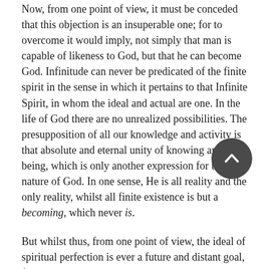Now, from one point of view, it must be conceded that this objection is an insuperable one; for to overcome it would imply, not simply that man is capable of likeness to God, but that he can become God. Infinitude can never be predicated of the finite spirit in the sense in which it pertains to that Infinite Spirit, in whom the ideal and actual are one. In the life of God there are no unrealized possibilities. The presupposition of all our knowledge and activity is that absolute and eternal unity of knowing and being, which is only another expression for the nature of God. In one sense, He is all reality and the only reality, whilst all finite existence is but a becoming, which never is.
But whilst thus, from one point of view, the ideal of spiritual perfection is ever a future and distant goal, from another it is, or may be, a present reality. For just in this lies the distinction between the moral life